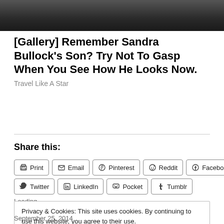[Figure (photo): Partial photo of two people, cropped at top of page]
[Gallery] Remember Sandra Bullock's Son? Try Not To Gasp When You See How He Looks Now.
Travel Like A Star
Share this:
Print  Email  Pinterest  Reddit  Facebook  Twitter  LinkedIn  Pocket  Tumblr
Loading...
Privacy & Cookies: This site uses cookies. By continuing to use this website, you agree to their use.
To find out more, including how to control cookies, see here: Cookie Policy
September 25, 2014